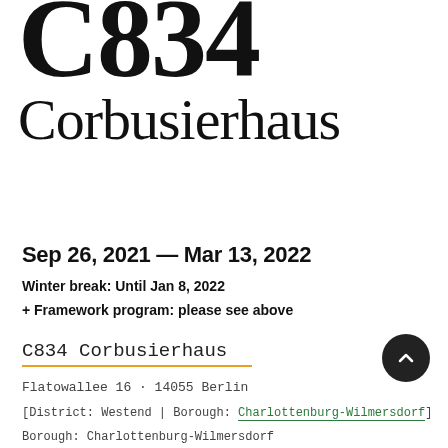C834
Corbusierhaus
Sep 26, 2021 — Mar 13, 2022
Winter break: Until Jan 8, 2022
+ Framework program: please see above
C834 Corbusierhaus
Flatowallee 16 · 14055 Berlin
[District: Westend | Borough: Charlottenburg-Wilmersdorf]
Borough: Charlottenburg-Wilmersdorf